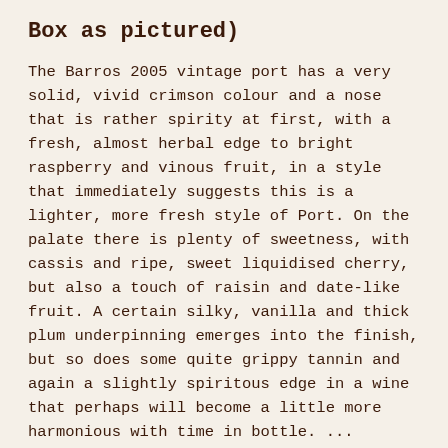Box as pictured)
The Barros 2005 vintage port has a very solid, vivid crimson colour and a nose that is rather spirity at first, with a fresh, almost herbal edge to bright raspberry and vinous fruit, in a style that immediately suggests this is a lighter, more fresh style of Port. On the palate there is plenty of sweetness, with cassis and ripe, sweet liquidised cherry, but also a touch of raisin and date-like fruit. A certain silky, vanilla and thick plum underpinning emerges into the finish, but so does some quite grippy tannin and again a slightly spiritous edge in a wine that perhaps will become a little more harmonious with time in bottle. ...
more >>>